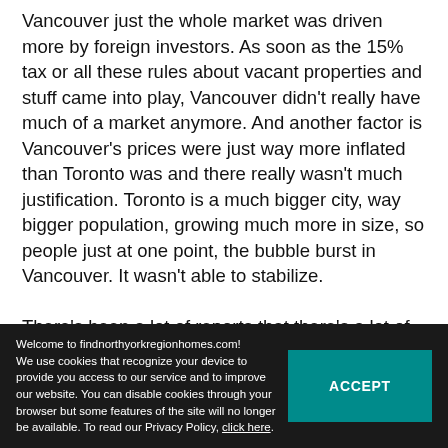Vancouver just the whole market was driven more by foreign investors. As soon as the 15% tax or all these rules about vacant properties and stuff came into play, Vancouver didn't really have much of a market anymore. And another factor is Vancouver's prices were just way more inflated than Toronto was and there really wasn't much justification. Toronto is a much bigger city, way bigger population, growing much more in size, so people just at one point, the bubble burst in Vancouver. It wasn't able to stabilize.

There's been a lot of reports that there's a lot of money laundering happening. There's a lot of properties being purchased under holding companies and they don't know who they are and
member names. Mostly ... pretu... their... and that reasons like their banking policies and other reasons, but in Toronto it's more
Welcome to findnorthyorkregionhomes.com! We use cookies that recognize your device to provide you access to our service and to improve our website. You can disable cookies through your browser but some features of the site will no longer be available. To read our Privacy Policy, click here.